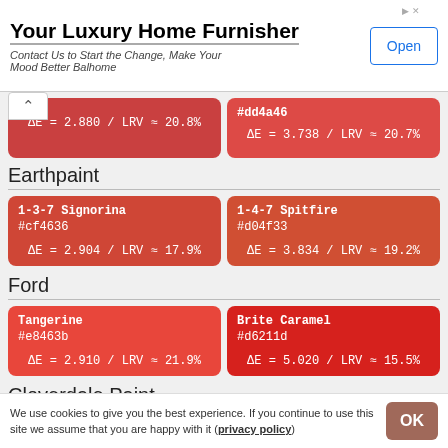[Figure (infographic): Advertisement banner: 'Your Luxury Home Furnisher' with Open button]
ΔE = 2.880 / LRV ≈ 20.8%
#dd4a46  ΔE = 3.738 / LRV ≈ 20.7%
Earthpaint
1-3-7 Signorina #cf4636  ΔE = 2.904 / LRV ≈ 17.9%
1-4-7 Spitfire #d04f33  ΔE = 3.834 / LRV ≈ 19.2%
Ford
Tangerine #e8463b  ΔE = 2.910 / LRV ≈ 21.9%
Brite Caramel #d6211d  ΔE = 5.020 / LRV ≈ 15.5%
Cloverdale Paint
We use cookies to give you the best experience. If you continue to use this site we assume that you are happy with it (privacy policy)